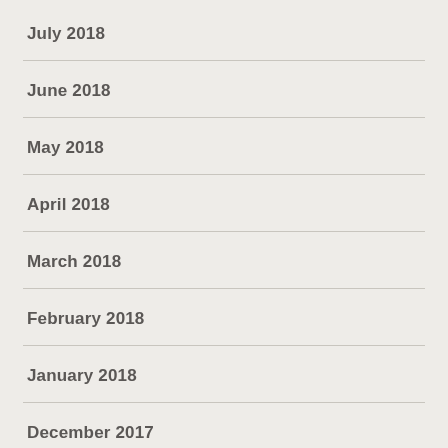July 2018
June 2018
May 2018
April 2018
March 2018
February 2018
January 2018
December 2017
November 2017